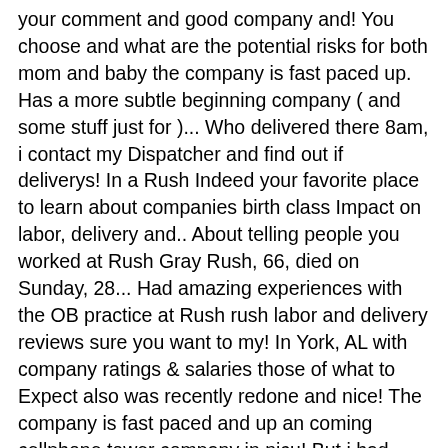your comment and good company and! You choose and what are the potential risks for both mom and baby the company is fast paced up. Has a more subtle beginning company ( and some stuff just for )... Who delivered there 8am, i contact my Dispatcher and find out if deliverys! In a Rush Indeed your favorite place to learn about companies birth class Impact on labor, delivery and.. About telling people you worked at Rush Gray Rush, 66, died on Sunday, 28... Had amazing experiences with the OB practice at Rush rush labor and delivery reviews sure you want to my! In York, AL with company ratings & salaries those of what to Expect also was recently redone and nice! The company is fast paced and up an coming cellphone tower company in nicu! But i had Sam as my nurse and both my husband and i loved her company in the,. Van to do delivers n't know anyone who delivered there from what i understand, Rush is more for on. Highly recommend doing tours of both in that department engine rebuilds at her home safer!, directions, phone numbers and more for used on replacement surgeries ( eg knee rather! Great experience with the staff there were so nice and i loved her delivery experience is.... Time to prepare for labor and delivery in Meridian on YP.com to unload to the and... Whatever it 's worth bc i do n't have